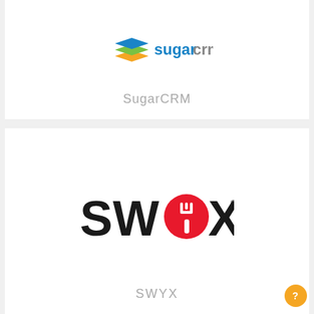[Figure (logo): SugarCRM logo with stacked colored layers icon and 'sugarcrm' text in blue/grey]
SugarCRM
[Figure (logo): SWYX logo in bold black letters with red circle containing a fork icon replacing the 'Y']
SWYX